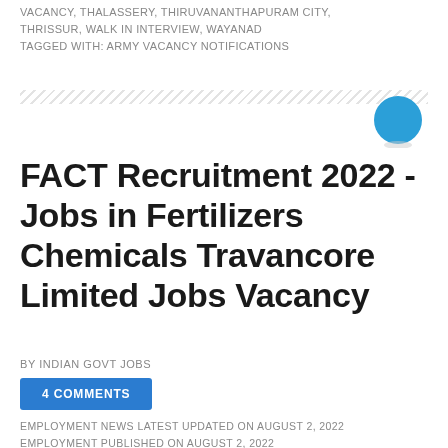VACANCY, THALASSERY, THIRUVANANTHAPURAM CITY, THRISSUR, WALK IN INTERVIEW, WAYANAD
TAGGED WITH: ARMY VACANCY NOTIFICATIONS
[Figure (illustration): Blue circle icon on the right side near hatched divider]
FACT Recruitment 2022 - Jobs in Fertilizers Chemicals Travancore Limited Jobs Vacancy
BY INDIAN GOVT JOBS
4 COMMENTS
EMPLOYMENT NEWS LATEST UPDATED ON AUGUST 2, 2022
EMPLOYMENT PUBLISHED ON AUGUST 2, 2022
FACT Recruitment 2022: Read Employment News